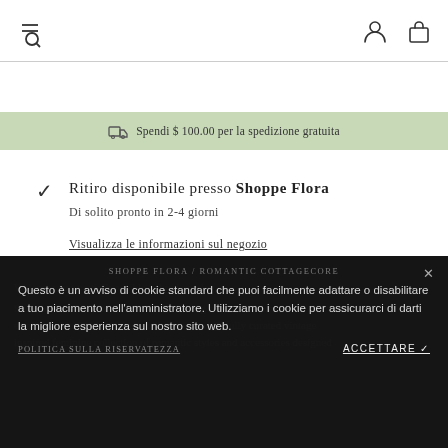Navigation header with menu/search icon, user account icon, and shopping bag icon
Spendi $ 100.00 per la spedizione gratuita
Ritiro disponibile presso Shoppe Flora
Di solito pronto in 2-4 giorni
Visualizza le informazioni sul negozio
SHOPPE FLORA / ROMANTIC COTTAGECORE
Questo è un avviso di cookie standard che puoi facilmente adattare o disabilitare a tuo piacimento nell'amministratore. Utilizziamo i cookie per assicurarci di darti la migliore esperienza sul nostro sito web.
POLITICA SULLA RISERVATEZZA
ACCETTARE ✓
Shopps Flora is an online women's clothing retail boutique, established in 2018. Where you'll find a thoughtfully curated vintage inspired feminine collection of romantic styles and accessories designed